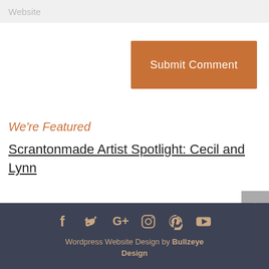Website
Submit Comment
We're Featured
Scrantonmade Artist Spotlight: Cecil and Lynn
[Figure (other): Back to top arrow button (grey)]
Wordpress Website Design by Bullzeye Design